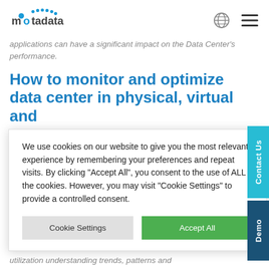motadata
applications can have a significant impact on the Data Center's performance.
How to monitor and optimize data center in physical, virtual and
We use cookies on our website to give you the most relevant experience by remembering your preferences and repeat visits. By clicking "Accept All", you consent to the use of ALL the cookies. However, you may visit "Cookie Settings" to provide a controlled consent.
nter involves e, physical and andwidth whic unified soluti
me: Monitor ckling ndwidth patterns and
utilization understanding trends, patterns and